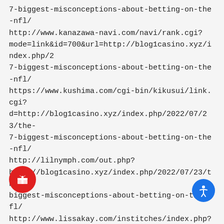7-biggest-misconceptions-about-betting-on-the-nfl/ http://www.kanazawa-navi.com/navi/rank.cgi?mode=link&id=700&url=http://blog1casino.xyz/index.php/2 7-biggest-misconceptions-about-betting-on-the-nfl/ https://www.kushima.com/cgi-bin/kikusui/link.cgi?d=http://blog1casino.xyz/index.php/2022/07/23/the-7-biggest-misconceptions-about-betting-on-the-nfl/ http://lilnymph.com/out.php?http://blog1casino.xyz/index.php/2022/07/23/the-7-biggest-misconceptions-about-betting-on-the-nfl/ http://www.lissakay.com/institches/index.php?URL=http://blog1casino.xyz/index.php/2022/07/23/the-7-biggest-misconceptions-about-betting-on-the-nfl/ http://www.listenyuan.com/home/link.php?://blog1casino.xyz/index.php/2022/07/23/the-7-biggest-misconceptions-about-betting-on-the-n https://www.mauihealthguide.com/ads/adclick.php?
[Figure (illustration): Red circular button with white gift/present icon]
[Figure (illustration): Blue circular accessibility button with white person icon]